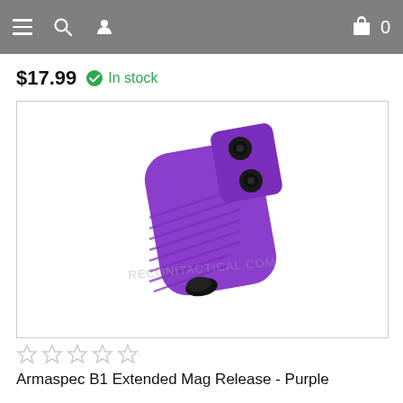Navigation bar with menu, search, profile icons and cart with 0 items
$17.99  In stock
[Figure (photo): Purple Armaspec B1 Extended Mag Release component — a small anodized purple aluminum block with ribbed texture and two black hex screws visible on top, shown against white background with watermark RECONITACTICAL.COM]
★★★★★ (empty stars / unrated)
Armaspec B1 Extended Mag Release - Purple